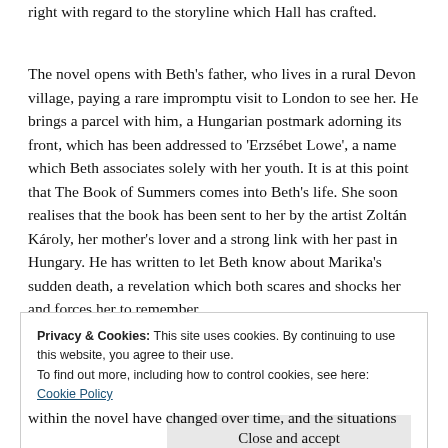right with regard to the storyline which Hall has crafted.
The novel opens with Beth's father, who lives in a rural Devon village, paying a rare impromptu visit to London to see her. He brings a parcel with him, a Hungarian postmark adorning its front, which has been addressed to 'Erzsébet Lowe', a name which Beth associates solely with her youth. It is at this point that The Book of Summers comes into Beth's life. She soon realises that the book has been sent to her by the artist Zoltán Károly, her mother's lover and a strong link with her past in Hungary. He has written to let Beth know about Marika's sudden death, a revelation which both scares and shocks her and forces her to remember.
Privacy & Cookies: This site uses cookies. By continuing to use this website, you agree to their use. To find out more, including how to control cookies, see here: Cookie Policy
within the novel have changed over time, and the situations